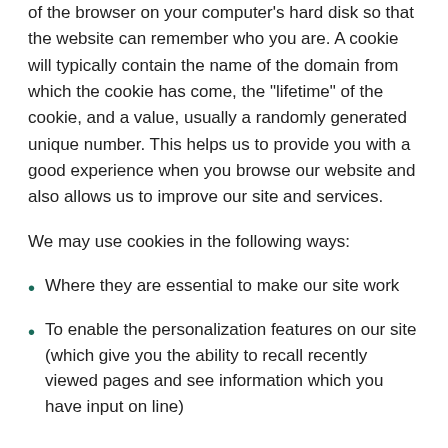of the browser on your computer's hard disk so that the website can remember who you are. A cookie will typically contain the name of the domain from which the cookie has come, the "lifetime" of the cookie, and a value, usually a randomly generated unique number. This helps us to provide you with a good experience when you browse our website and also allows us to improve our site and services.
We may use cookies in the following ways:
Where they are essential to make our site work
To enable the personalization features on our site (which give you the ability to recall recently viewed pages and see information which you have input on line)